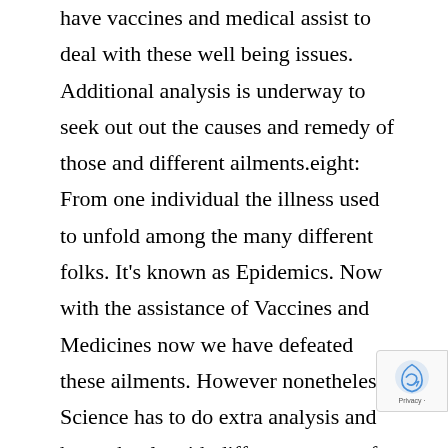have vaccines and medical assist to deal with these well being issues. Additional analysis is underway to seek out out the causes and remedy of those and different ailments.eight: From one individual the illness used to unfold among the many different folks. It's known as Epidemics. Now with the assistance of Vaccines and Medicines now we have defeated these ailments. However nonetheless Science has to do extra analysis and has to battle with different arenas of ailments.9: Life was unsure. It was uncommon to see to anyone thirty years outdated as a result of on account of ailments many individuals died sooner than the age of thirty. These situations had been prevailing simply a short time in the past.10: In on a regular basis life, now we have to speak with completely different buddies and